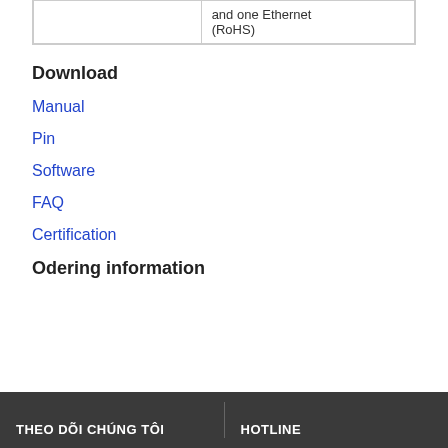|  | and one Ethernet
(RoHS) |
Download
Manual
Pin
Software
FAQ
Certification
Odering information
THEO DÕI CHÚNG TÔI   HOTLINE